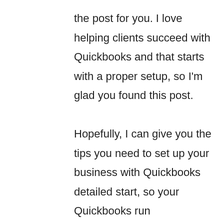the post for you. I love helping clients succeed with Quickbooks and that starts with a proper setup, so I'm glad you found this post.

Hopefully, I can give you the tips you need to set up your business with Quickbooks detailed start, so your Quickbooks run